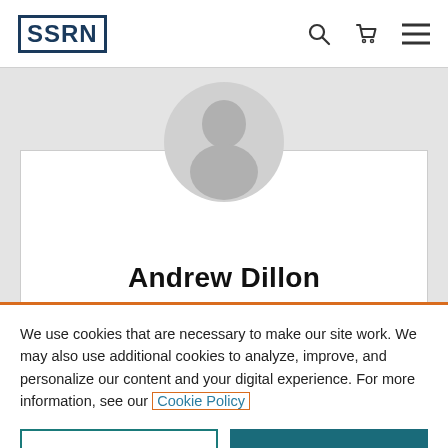SSRN
[Figure (illustration): Generic profile avatar silhouette in a light gray circle, shown on a gray background. Below is a white card partially showing.]
Andrew Dillon
We use cookies that are necessary to make our site work. We may also use additional cookies to analyze, improve, and personalize our content and your digital experience. For more information, see our Cookie Policy
Cookie Settings
Accept all cookies